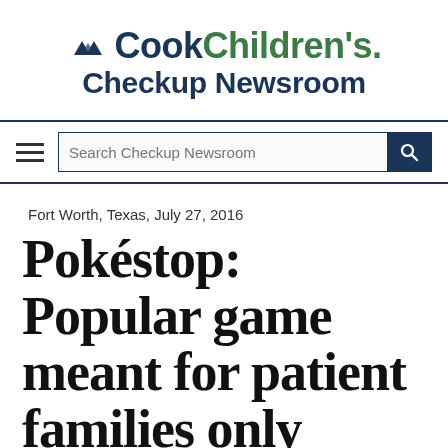Cook Children's. Checkup Newsroom
[Figure (logo): Cook Children's Checkup Newsroom logo with green triangles]
Fort Worth, Texas, July 27, 2016
Pokéstop: Popular game meant for patient families only